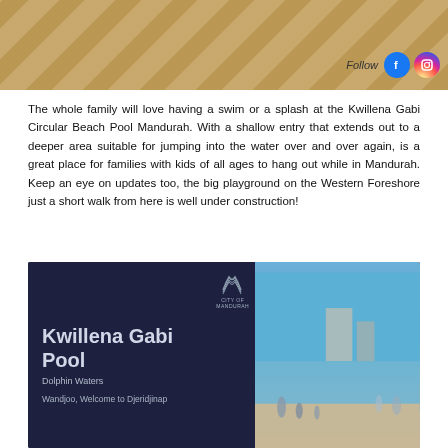[Figure (photo): Top portion of a stamped concrete or paved surface photo with diagonal crack-like patterns in sandy/tan color. Social media follow icons (Facebook and Instagram) visible in bottom right of image.]
The whole family will love having a swim or a splash at the Kwillena Gabi Circular Beach Pool Mandurah. With a shallow entry that extends out to a deeper area suitable for jumping into the water over and over again, is a great place for families with kids of all ages to hang out while in Mandurah. Keep an eye on updates too, the big playground on the Western Foreshore just a short walk from here is well under construction!
[Figure (photo): Photo of a dark navy blue sign reading 'Kwillena Gabi Pool' with 'Dolphin Waters' subtitle and 'Wandjoo, Welcome to Djeridjinap' text below, with City of Mandurah logo. Right side shows a beach/waterfront scene with people near the water on a sunny day with blue sky and buildings in background.]